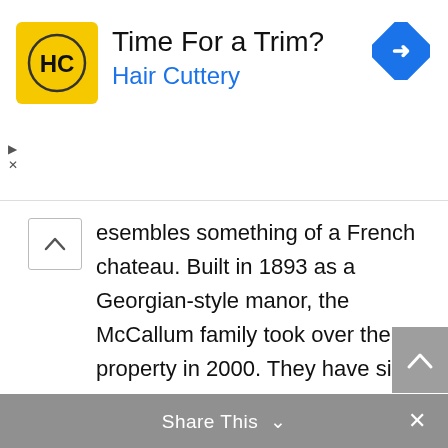[Figure (infographic): Hair Cuttery advertisement banner with yellow logo showing HC letters, text 'Time For a Trim?' and 'Hair Cuttery' in blue, with a blue diamond turn arrow icon on the right.]
esembles something of a French chateau. Built in 1893 as a Georgian-style manor, the McCallum family took over the property in 2000. They have since transformed it into a luxurious escape. Today, Ravensthorpe plays host to elegant high tea afternoons, idyllic wedding celebrations and intimate fine dining.
Share This ∨  ×